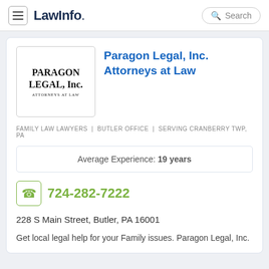LawInfo. | Search
[Figure (logo): PARAGON LEGAL, Inc. ATTORNEYS AT LAW company logo in a bordered box]
Paragon Legal, Inc. Attorneys at Law
FAMILY LAW LAWYERS | BUTLER OFFICE | SERVING CRANBERRY TWP, PA
Average Experience: 19 years
724-282-7222
228 S Main Street, Butler, PA 16001
Get local legal help for your Family issues. Paragon Legal, Inc.